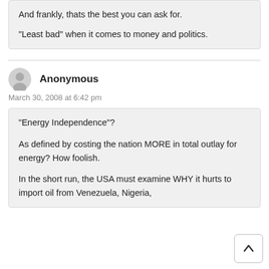And frankly, thats the best you can ask for.

“Least bad” when it comes to money and politics.
Anonymous
March 30, 2008 at 6:42 pm
“Energy Independence”?

As defined by costing the nation MORE in total outlay for energy? How foolish.

In the short run, the USA must examine WHY it hurts to import oil from Venezuela, Nigeria,